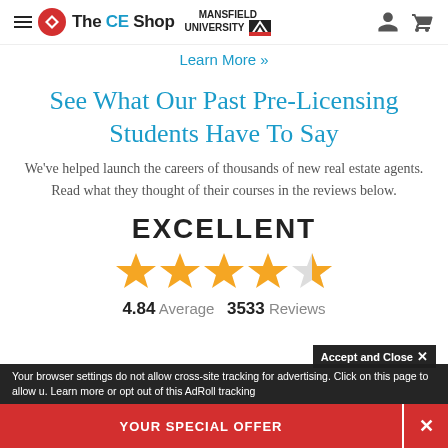The CE Shop | Mansfield University
Learn More »
See What Our Past Pre-Licensing Students Have To Say
We've helped launch the careers of thousands of new real estate agents. Read what they thought of their courses in the reviews below.
EXCELLENT
[Figure (other): Five orange stars rating display (4.5 out of 5)]
4.84 Average   3533 Reviews
Accept and Close ✕
Your browser settings do not allow cross-site tracking for advertising. Click on this page to allow u. Learn more or opt out of this AdRoll tracking
YOUR SPECIAL OFFER   ✕